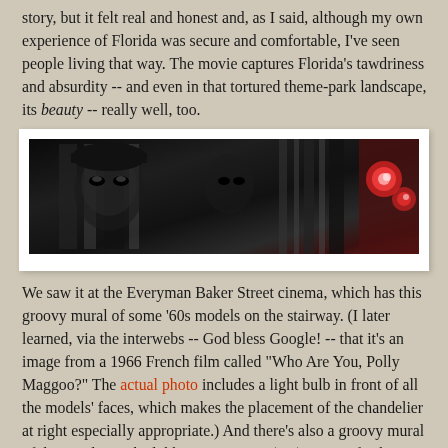story, but it felt real and honest and, as I said, although my own experience of Florida was secure and comfortable, I've seen people living that way. The movie captures Florida's tawdriness and absurdity -- and even in that tortured theme-park landscape, its beauty -- really well, too.
[Figure (photo): Black and white photo of 1960s models, mural at Everyman Baker Street cinema stairway, with a red chandelier/light visible at right]
We saw it at the Everyman Baker Street cinema, which has this groovy mural of some '60s models on the stairway. (I later learned, via the interwebs -- God bless Google! -- that it's an image from a 1966 French film called "Who Are You, Polly Maggoo?" The actual photo includes a light bulb in front of all the models' faces, which makes the placement of the chandelier at right especially appropriate.) And there's also a groovy mural of the Beatles in the lobby seating area (top). It's a refreshing change from the Sherlock Holmes motif adopted by every other business on Baker Street.